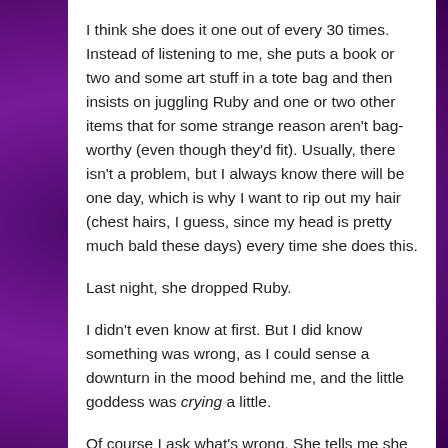I think she does it one out of every 30 times. Instead of listening to me, she puts a book or two and some art stuff in a tote bag and then insists on juggling Ruby and one or two other items that for some strange reason aren't bag-worthy (even though they'd fit). Usually, there isn't a problem, but I always know there will be one day, which is why I want to rip out my hair (chest hairs, I guess, since my head is pretty much bald these days) every time she does this.
Last night, she dropped Ruby.
I didn't even know at first. But I did know something was wrong, as I could sense a downturn in the mood behind me, and the little goddess was crying a little.
Of course I ask what's wrong. She tells me she dropped Ruby and injured one of her eyes. I'm confused, as the doll looks fine. Turns out that when she would lay Ruby down subsequent to the tumble mere minutes earlier, one eye wouldn't shut all the way.